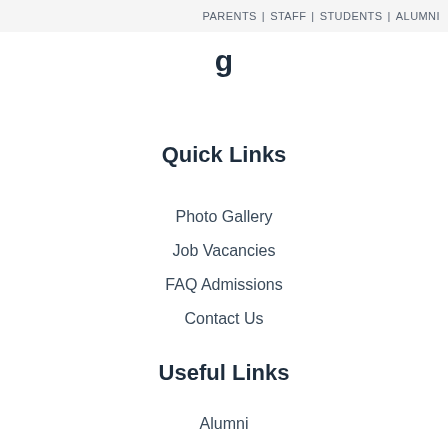PARENTS | STAFF | STUDENTS | ALUMNI
g
Quick Links
Photo Gallery
Job Vacancies
FAQ Admissions
Contact Us
Useful Links
Alumni